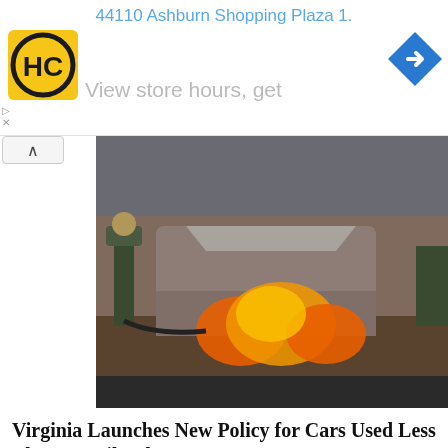44110 Ashburn Shopping Plaza 1.
[Figure (logo): HC logo — yellow square with black HC letters and circle]
[Figure (logo): Blue diamond navigation/direction icon with right-pointing arrow]
View store hours, get
[Figure (photo): Firefighter spraying water at a car on fire on a road, flames behind the car]
Virginia Launches New Policy for Cars Used Less Than 50 Miles/day
Smart Lifestyle Trends
[Figure (photo): White sneaker/athletic shoe worn by a person with a black outfit, on a light wood floor background]